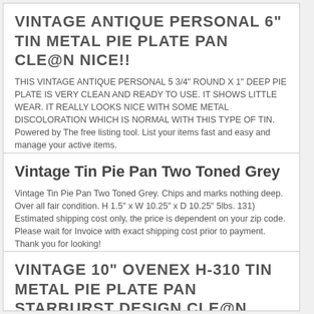VINTAGE ANTIQUE PERSONAL 6" TIN METAL PIE PLATE PAN CLE@N NICE!!
THIS VINTAGE ANTIQUE PERSONAL 5 3/4" ROUND X 1" DEEP PIE PLATE IS VERY CLEAN AND READY TO USE. IT SHOWS LITTLE WEAR. IT REALLY LOOKS NICE WITH SOME METAL DISCOLORATION WHICH IS NORMAL WITH THIS TYPE OF TIN. Powered by The free listing tool. List your items fast and easy and manage your active items.
Vintage Tin Pie Pan Two Toned Grey
Vintage Tin Pie Pan Two Toned Grey. Chips and marks nothing deep. Over all fair condition. H 1.5" x W 10.25" x D 10.25" 5lbs. 131) Estimated shipping cost only, the price is dependent on your zip code. Please wait for Invoice with exact shipping cost prior to payment. Thank you for looking!
VINTAGE 10" OVENEX H-310 TIN METAL PIE PLATE PAN STARBURST DESIGN CLE@N NICE!!
THIS VINTAGE ANTIQUE OVENEX 9 1/2" ROUND X 1 1/4" DEEP PIE PLATE. IT IS CLEAN AND READY TO USE. IT SAYS"OVENEX H-310-10" U.S.A. IT HAS A STARBURST DESIGN BOTTOM. IT REALLY LOOKS NICE WITH SLIGHT METAL DISCOLORATION WHICH IS NORMAL WITH THIS TYPE OF TIN.